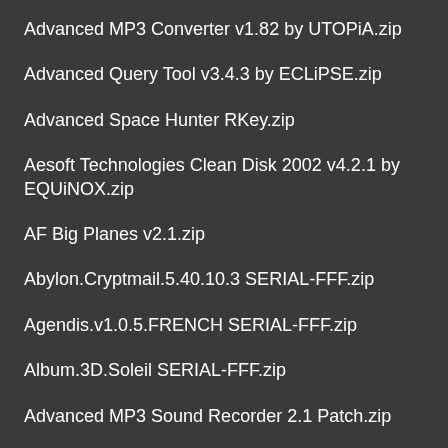Advanced MP3 Converter v1.82 by UTOPiA.zip
Advanced Query Tool v3.4.3 by ECLiPSE.zip
Advanced Space Hunter RKey.zip
Aesoft Technologies Clean Disk 2002 v4.2.1 by EQUiNOX.zip
AF Big Planes v2.1.zip
Abylon.Cryptmail.5.40.10.3 SERIAL-FFF.zip
Agendis.v1.0.5.FRENCH SERIAL-FFF.zip
Album.3D.Soleil SERIAL-FFF.zip
Advanced MP3 Sound Recorder 2.1 Patch.zip
Audio Converter v7.0 Ultimate Audio Rec. EasyCD-DA